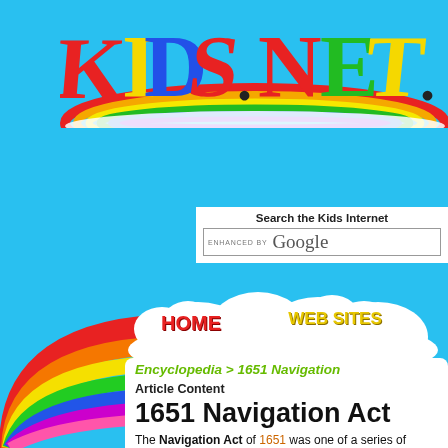[Figure (logo): KIDS.NET. logo with colorful letters on sky blue background with rainbow arc]
Search the Kids Internet
ENHANCED BY Google
[Figure (illustration): HOME button on cloud]
[Figure (illustration): WEB SITES button on cloud]
[Figure (illustration): Rainbow arc on left side with cloud background]
Encyclopedia > 1651 Navigation
Article Content
1651 Navigation Act
The Navigation Act of 1651 was one of a series of parliament. it was passed in October of 1651 as a mission seeking recognition of the Commonweo...